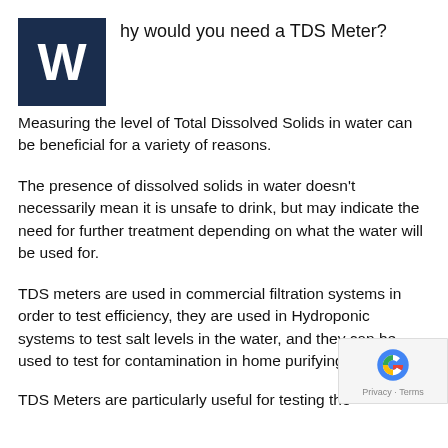Why would you need a TDS Meter?
Measuring the level of Total Dissolved Solids in water can be beneficial for a variety of reasons.
The presence of dissolved solids in water doesn't necessarily mean it is unsafe to drink, but may indicate the need for further treatment depending on what the water will be used for.
TDS meters are used in commercial filtration systems in order to test efficiency, they are used in Hydroponic systems to test salt levels in the water, and they can be used to test for contamination in home purifying systems.
TDS Meters are particularly useful for testing the